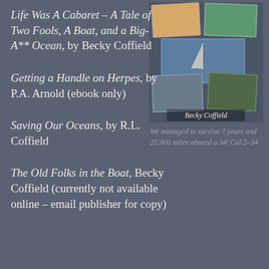[Figure (photo): Book cover of 'Life Was A Cabaret' by Becky Coffield showing collage of travel/sailing photos]
Life Was A Cabaret – A Tale of Two Fools, A Boat, and a Big-A** Ocean, by Becky Coffield
We managed to survive 7 years and 25,000 miles aboard a 34' Cal 2–34
Getting a Handle on Herpes, by P.A. Arnold (ebook only)
Saving Our Oceans, by R.L. Coffield
The Old Folks in the Boat, Becky Coffield (currently not available online – email publisher for copy)